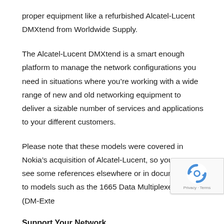proper equipment like a refurbished Alcatel-Lucent DMXtend from Worldwide Supply.
The Alcatel-Lucent DMXtend is a smart enough platform to manage the network configurations you need in situations where you’re working with a wide range of new and old networking equipment to deliver a sizable number of services and applications to your different customers.
Please note that these models were covered in Nokia’s acquisition of Alcatel-Lucent, so you may see some references elsewhere or in documentation to models such as the 1665 Data Multiplexer Extend (DM-Exte…
Support Your Network